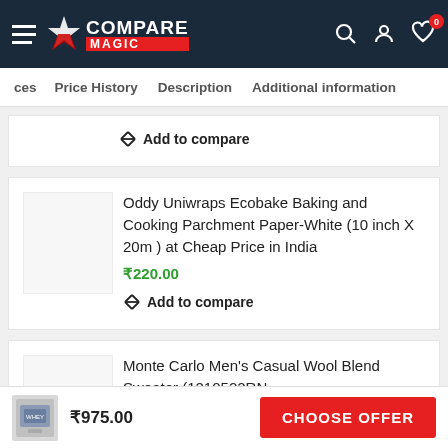Compare Magic
ces | Price History | Description | Additional information
Add to compare
Oddy Uniwraps Ecobake Baking and Cooking Parchment Paper-White (10 inch X 20m ) at Cheap Price in India
₹220.00
Add to compare
Monte Carlo Men's Casual Wool Blend Sweater (1210522RN-
₹975.00
CHOOSE OFFER